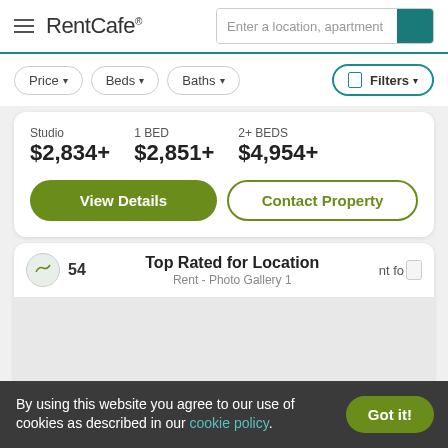RentCafe — Enter a location, apartment
Price ▾   Beds ▾   Baths ▾   Filters ▾
Studio $2,834+   1 BED $2,851+   2+ BEDS $4,954+
View Details   Contact Property
54   Top Rated for Location   Rent - Photo Gallery 1
By using this website you agree to our use of cookies as described in our cookie policy.